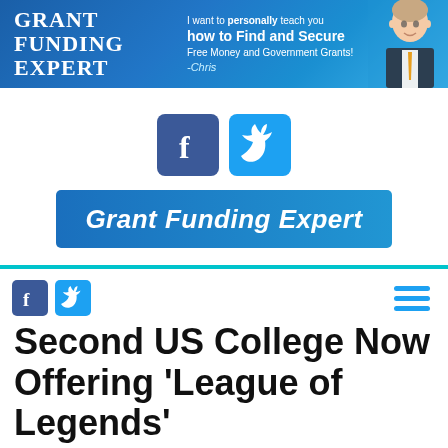[Figure (illustration): Grant Funding Expert banner ad with logo text, promotional text 'I want to personally teach you how to Find and Secure Free Money and Government Grants!' signed by Chris, and a photo of a man in a suit on the right side.]
[Figure (logo): Facebook and Twitter social share buttons (large, rounded square icons) centered on white background.]
[Figure (illustration): Grant Funding Expert blue banner with white bold italic text 'Grant Funding Expert'.]
[Figure (illustration): Small Facebook and Twitter button icons on left, and a teal hamburger menu icon on the right, forming a navigation toolbar.]
Second US College Now Offering ‘League of Legends’